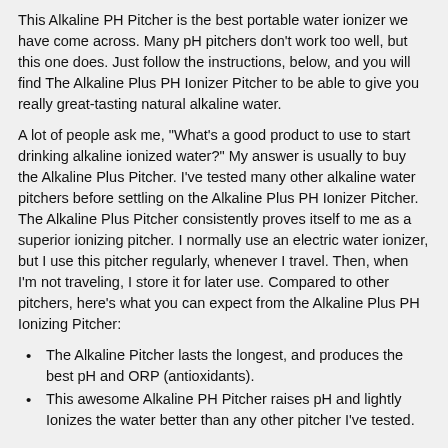This Alkaline PH Pitcher is the best portable water ionizer we have come across. Many pH pitchers don't work too well, but this one does. Just follow the instructions, below, and you will find The Alkaline Plus PH Ionizer Pitcher to be able to give you really great-tasting natural alkaline water.
A lot of people ask me, "What's a good product to use to start drinking alkaline ionized water?" My answer is usually to buy the Alkaline Plus Pitcher. I've tested many other alkaline water pitchers before settling on the Alkaline Plus PH Ionizer Pitcher. The Alkaline Plus Pitcher consistently proves itself to me as a superior ionizing pitcher. I normally use an electric water ionizer, but I use this pitcher regularly, whenever I travel. Then, when I'm not traveling, I store it for later use. Compared to other pitchers, here's what you can expect from the Alkaline Plus PH Ionizing Pitcher:
The Alkaline Pitcher lasts the longest, and produces the best pH and ORP (antioxidants).
This awesome Alkaline PH Pitcher raises pH and lightly Ionizes the water better than any other pitcher I've tested.